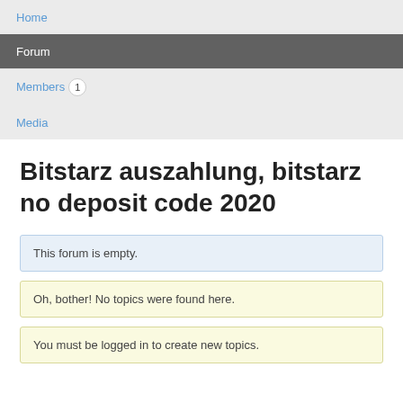Home
Forum
Members 1
Media
Bitstarz auszahlung, bitstarz no deposit code 2020
This forum is empty.
Oh, bother! No topics were found here.
You must be logged in to create new topics.